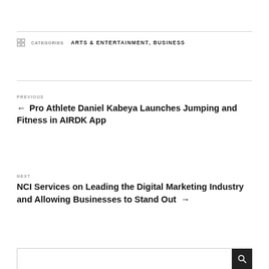CATEGORIES: ARTS & ENTERTAINMENT, BUSINESS
PREVIOUS
← Pro Athlete Daniel Kabeya Launches Jumping and Fitness in AIRDK App
NEXT
NCI Services on Leading the Digital Marketing Industry and Allowing Businesses to Stand Out →